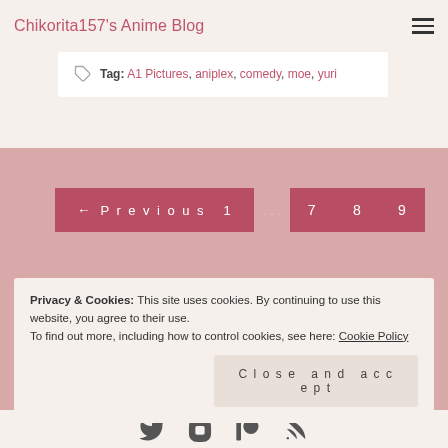Chikorita157's Anime Blog
Tag: A1 Pictures, aniplex, comedy, moe, yuri
← Previous  1  ...  7  8  9
© 2009–2022 James M. All rights reserved. Images are owned by their
Privacy & Cookies: This site uses cookies. By continuing to use this website, you agree to their use.
To find out more, including how to control cookies, see here: Cookie Policy
Close and accept